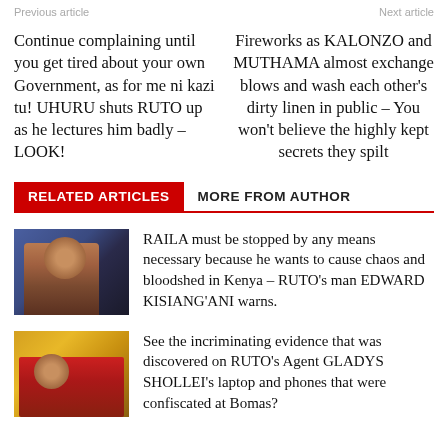Previous article | Next article
Continue complaining until you get tired about your own Government, as for me ni kazi tu! UHURU shuts RUTO up as he lectures him badly – LOOK!
Fireworks as KALONZO and MUTHAMA almost exchange blows and wash each other's dirty linen in public – You won't believe the highly kept secrets they spilt
RELATED ARTICLES	MORE FROM AUTHOR
[Figure (photo): Portrait photo of a man in a suit against a blue/purple background]
RAILA must be stopped by any means necessary because he wants to cause chaos and bloodshed in Kenya – RUTO's man EDWARD KISIANG'ANI warns.
[Figure (photo): Photo of people in colorful traditional attire against a yellow/red background]
See the incriminating evidence that was discovered on RUTO's Agent GLADYS SHOLLEI's laptop and phones that were confiscated at Bomas?